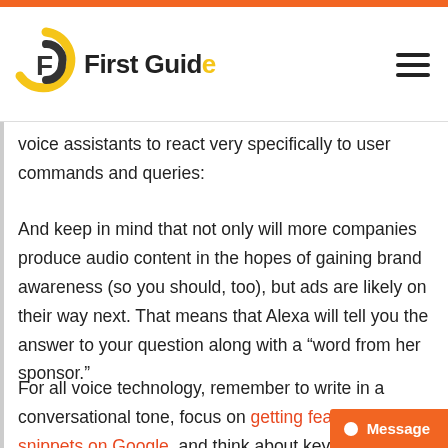First Guide
voice assistants to react very specifically to user commands and queries:
And keep in mind that not only will more companies produce audio content in the hopes of gaining brand awareness (so you should, too), but ads are likely on their way next. That means that Alexa will tell you the answer to your question along with a “word from her sponsor.”
For all voice technology, remember to write in a conversational tone, focus on getting featured snippets on Google, and think about keywords that